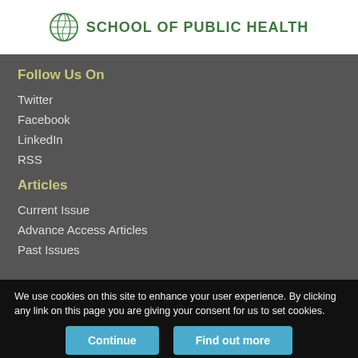[Figure (logo): School of Public Health logo with green globe/leaf icon and text SCHOOL OF PUBLIC HEALTH]
Follow Us On
Twitter
Facebook
LinkedIn
RSS
Articles
Current Issue
Advance Access Articles
Past Issues
We use cookies on this site to enhance your user experience. By clicking any link on this page you are giving your consent for us to set cookies.
Continue
Find out more